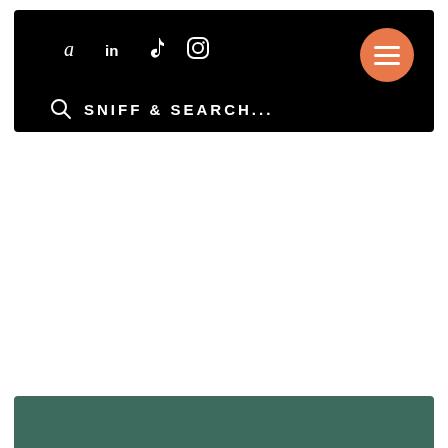[Figure (screenshot): Website header navigation bar with black background showing social media icons (Amazon, LinkedIn, TikTok, Instagram), an orange hamburger menu button, and a search bar with text SNIFF & SEARCH...]
[Figure (screenshot): Dark teal/green footer bar at the bottom of the page]